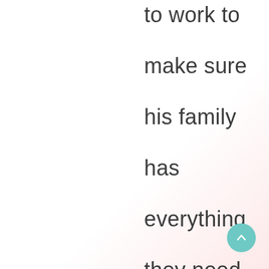to work to make sure his family has everything they need, Leo estimates that he only needs $100/month.